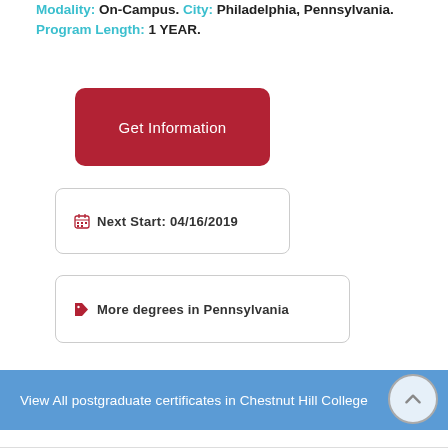Modality: On-Campus. City: Philadelphia, Pennsylvania. Program Length: 1 YEAR.
[Figure (other): Red rounded rectangle button labeled 'Get Information']
Next Start: 04/16/2019
More degrees in Pennsylvania
View All postgraduate certificates in Chestnut Hill College